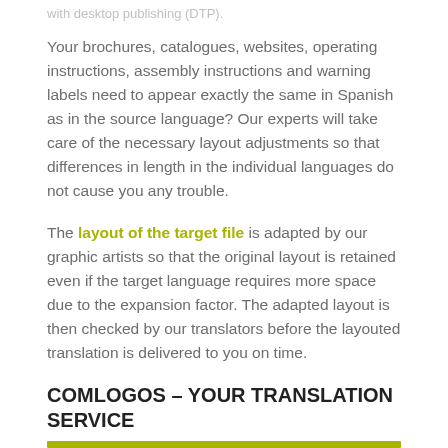with desktop publishing (DTP).
Your brochures, catalogues, websites, operating instructions, assembly instructions and warning labels need to appear exactly the same in Spanish as in the source language? Our experts will take care of the necessary layout adjustments so that differences in length in the individual languages do not cause you any trouble.
The layout of the target file is adapted by our graphic artists so that the original layout is retained even if the target language requires more space due to the expansion factor. The adapted layout is then checked by our translators before the layouted translation is delivered to you on time.
COMLOGOS – YOUR TRANSLATION SERVICE
[Figure (other): Olive/yellow-green horizontal bar at bottom of page]